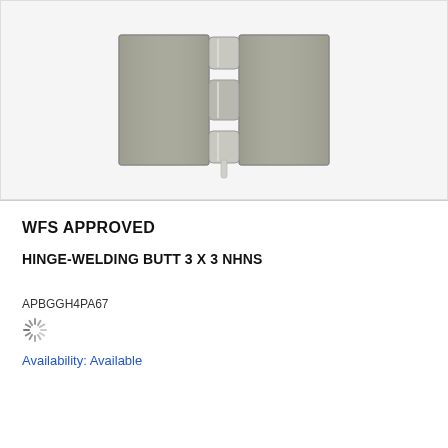[Figure (photo): Photo of a metal welding butt hinge, 3x3 inches, NHNS type. The hinge is shown open/flat, with two rectangular steel plates joined by a cylindrical barrel/knuckle pin in the center. The metal has a brushed steel/satin finish.]
WFS APPROVED
HINGE-WELDING BUTT 3 X 3 NHNS
APBGGH4PA67
Availability: Available